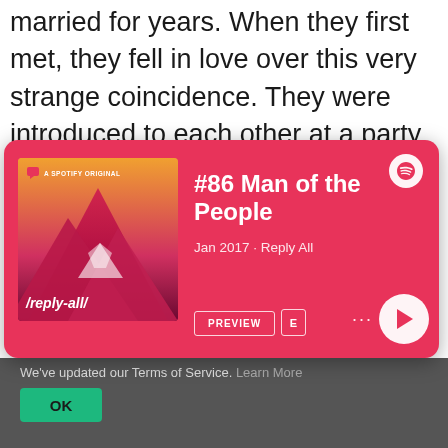married for years. When they first met, they fell in love over this very strange coincidence. They were introduced to each other at a party, they got to talking, and they realized both of them
[Figure (screenshot): Spotify podcast card for '#86 Man of the People', Jan 2017 · Reply All, with album art showing pink mountains, Preview button, E (explicit) button, play button, and Spotify logo]
We've updated our Terms of Service. Learn More
OK
This website uses cookies to ensure you get the best experience on our website. Learn More
OK